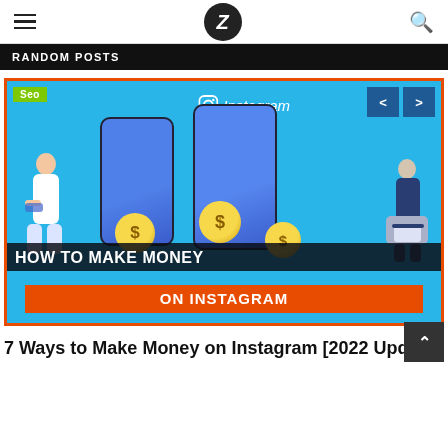Z (logo)
RANDOM POSTS
[Figure (illustration): Promotional blog card image for an article about making money on Instagram. Shows two smartphones with dollar coin graphics, a woman using a phone on the left, an older woman with a laptop on the right, Instagram logo at top, text overlay 'HOW TO MAKE MONEY ON INSTAGRAM' on dark and orange banners. Navigation arrows top right. Seo badge top left.]
7 Ways to Make Money on Instagram [2022 Update]